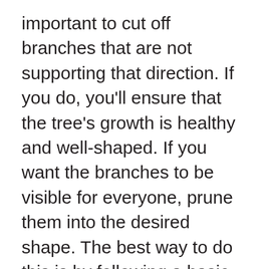important to cut off branches that are not supporting that direction. If you do, you'll ensure that the tree's growth is healthy and well-shaped. If you want the branches to be visible for everyone, prune them into the desired shape. The best way to do this is by following a basic guideline. Pruning a tree is important for the health of the plant. You should remove dead and diseased branches and any branches that rub together. These pests will weaken the plant and spread diseases. The most important purpose of pruning is to create a